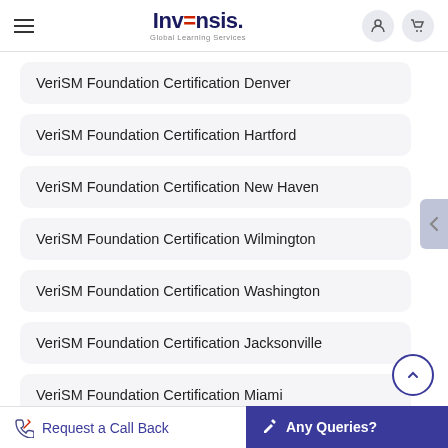Invensis Global Learning Services
VeriSM Foundation Certification Denver
VeriSM Foundation Certification Hartford
VeriSM Foundation Certification New Haven
VeriSM Foundation Certification Wilmington
VeriSM Foundation Certification Washington
VeriSM Foundation Certification Jacksonville
VeriSM Foundation Certification Miami
Request a Call Back | Any Queries?